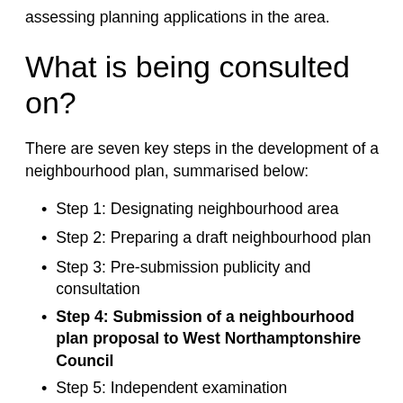assessing planning applications in the area.
What is being consulted on?
There are seven key steps in the development of a neighbourhood plan, summarised below:
Step 1: Designating neighbourhood area
Step 2: Preparing a draft neighbourhood plan
Step 3: Pre-submission publicity and consultation
Step 4: Submission of a neighbourhood plan proposal to West Northamptonshire Council
Step 5: Independent examination